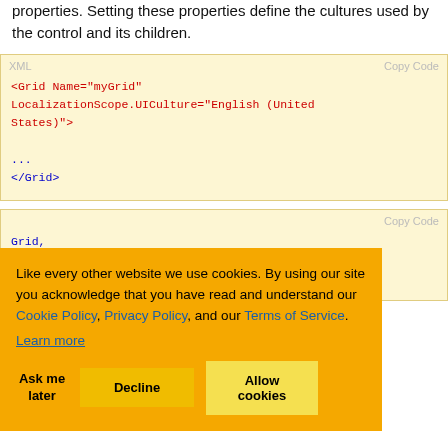properties. Setting these properties define the cultures used by the control and its children.
[Figure (screenshot): XML code block with light yellow background showing: <Grid Name="myGrid" LocalizationScope.UICulture="English (United States)"> ... </Grid>]
[Figure (screenshot): Second code block (partially obscured) showing C# code with Copy Code label, containing Grid reference and );]
Cookie consent overlay on orange background saying: Like every other website we use cookies. By using our site you acknowledge that you have read and understand our Cookie Policy, Privacy Policy, and our Terms of Service. Learn more. Buttons: Ask me later, Decline, Allow cookies
...roject. I'll cover ...gh time.